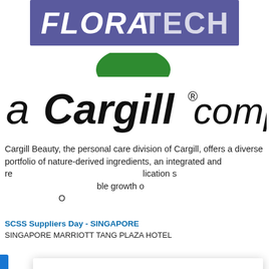[Figure (logo): FloraTech logo — white bold italic text on purple/indigo background banner]
[Figure (logo): a Cargill company logo with green arc over italic Cargill wordmark]
Cargill Beauty, the personal care division of Cargill, offers a diverse portfolio of nature-derived ingredients, an integrated and re[sponsible sourcing approach, app]lication s[upport, and a commitment to sustaina]ble growth o[f our customers and communities.] O[ur...]
Cookies
This site uses cookies to analyse traffic, remember your preferences, and optimise your experience.
LEARN MORE    CLOSE
SCSS Suppliers Day - SINGAPORE
SINGAPORE MARRIOTT TANG PLAZA HOTEL